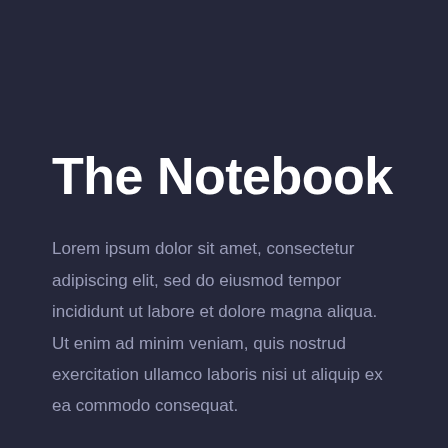The Notebook
Lorem ipsum dolor sit amet, consectetur adipiscing elit, sed do eiusmod tempor incididunt ut labore et dolore magna aliqua. Ut enim ad minim veniam, quis nostrud exercitation ullamco laboris nisi ut aliquip ex ea commodo consequat.
Lorem ipsum dolor sit amet, consectetur adipiscing elit, sed do eiusmod tempor incididunt ut labore et dolore magna aliqua. Ut enim ad minim veniam, quis nostrud